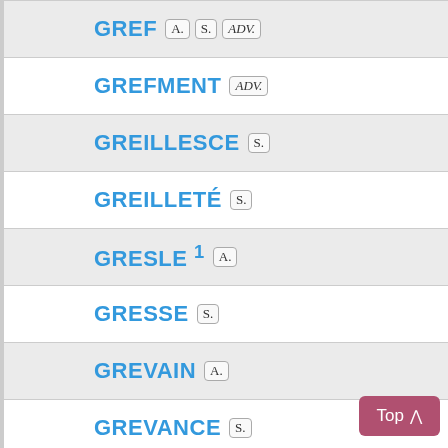GREF A. S. ADV.
GREFMENT ADV.
GREILLESCE S.
GREILLETÉ S.
GRESLE 1 A.
GRESSE S.
GREVAIN A.
GREVANCE S.